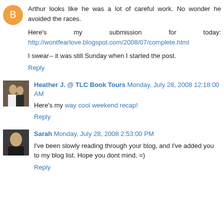Arthur looks like he was a lot of careful work. No wonder he avoided the races.

Here's my submission for today: http://wontfearlove.blogspot.com/2008/07/complete.html

I swear-- it was still Sunday when I started the post.
Reply
Heather J. @ TLC Book Tours Monday, July 28, 2008 12:18:00 AM
Here's my way cool weekend recap!
Reply
Sarah Monday, July 28, 2008 2:53:00 PM
I've been slowly reading through your blog, and I've added you to my blog list. Hope you dont mind. =)
Reply